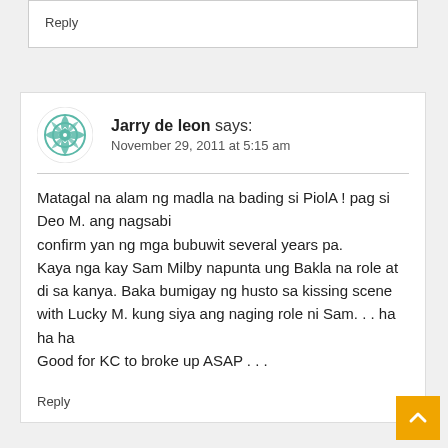Reply
Jarry de leon says:
November 29, 2011 at 5:15 am
Matagal na alam ng madla na bading si PiolA ! pag si Deo M. ang nagsabi confirm yan ng mga bubuwit several years pa. Kaya nga kay Sam Milby napunta ung Bakla na role at di sa kanya. Baka bumigay ng husto sa kissing scene with Lucky M. kung siya ang naging role ni Sam. . . ha ha ha
Good for KC to broke up ASAP . . .
Reply